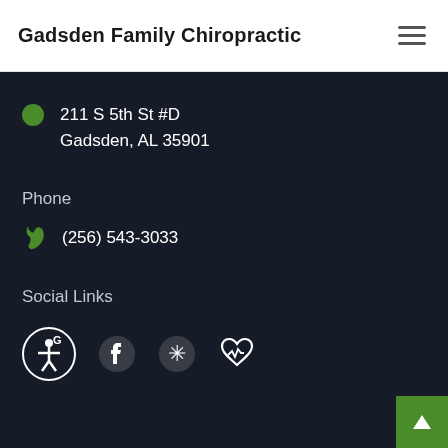Gadsden Family Chiropractic
211 S 5th St #D
Gadsden, AL 35901
Phone
(256) 543-3033
Social Links
[Figure (infographic): Social media icons: Google, Facebook, Yelp, Cardiogram/health icon, and accessibility icon]